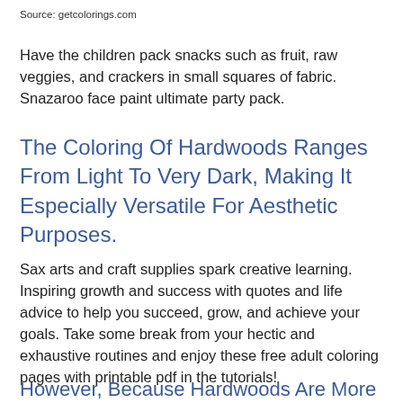Source: getcolorings.com
Have the children pack snacks such as fruit, raw veggies, and crackers in small squares of fabric. Snazaroo face paint ultimate party pack.
The Coloring Of Hardwoods Ranges From Light To Very Dark, Making It Especially Versatile For Aesthetic Purposes.
Sax arts and craft supplies spark creative learning. Inspiring growth and success with quotes and life advice to help you succeed, grow, and achieve your goals. Take some break from your hectic and exhaustive routines and enjoy these free adult coloring pages with printable pdf in the tutorials!
However, Because Hardwoods Are More